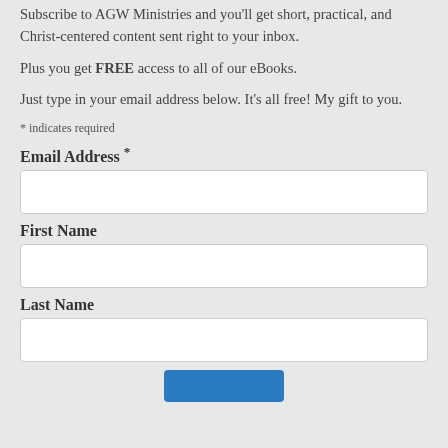Subscribe to AGW Ministries and you'll get short, practical, and Christ-centered content sent right to your inbox.
Plus you get FREE access to all of our eBooks.
Just type in your email address below. It's all free! My gift to you.
* indicates required
Email Address *
First Name
Last Name